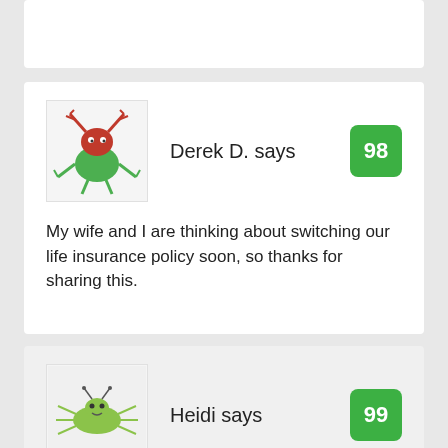[Figure (illustration): Top white card placeholder, partially visible at top of page]
[Figure (illustration): Avatar of Derek D.: cartoon monster with red antlers and green body]
Derek D. says
98
My wife and I are thinking about switching our life insurance policy soon, so thanks for sharing this.
[Figure (illustration): Avatar of Heidi: cartoon green bug/spider creature]
Heidi says
99